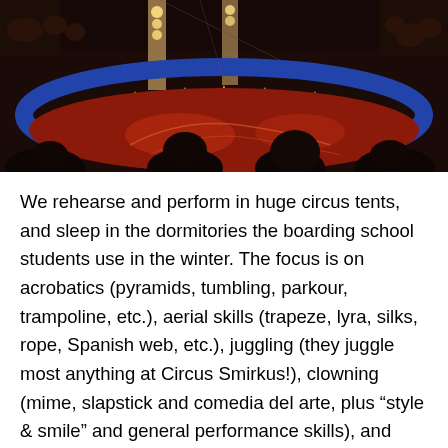[Figure (photo): Interior of a circus tent showing a large circular red performance ring bordered by a blue barrier decorated with yellow stars. The ring has light projections on the floor. Audience members are visible silhouetted in the foreground and background. Illuminated pillars are visible.]
We rehearse and perform in huge circus tents, and sleep in the dormitories the boarding school students use in the winter. The focus is on acrobatics (pyramids, tumbling, parkour, trampoline, etc.), aerial skills (trapeze, lyra, silks, rope, Spanish web, etc.), juggling (they juggle most anything at Circus Smirkus!), clowning (mime, slapstick and comedia del arte, plus “style & smile” and general performance skills), and balance skills (tight rope, slack rope, rola-bola, stilts, unicycle), but there are lots of “regular” summer camp activities like talent shows